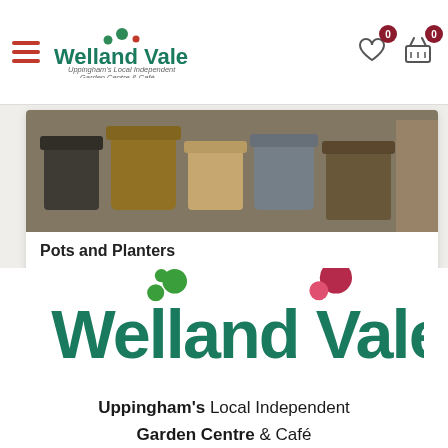Welland Vale – Uppingham's Local Independent Garden Centre & Café (navigation bar)
[Figure (photo): Photo of ceramic pots and planters in various earthy tones — black, brown, tan, grey — on display shelves]
Pots and Planters
[Figure (logo): Welland Vale logo — large green 'Welland Vale' wordmark with decorative green and red dot clusters above; tagline 'Uppingham's Local Independent Garden Centre & Café']